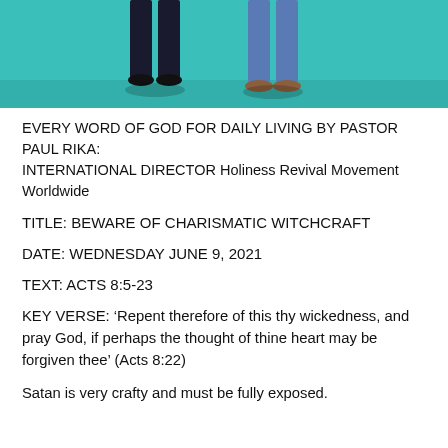[Figure (illustration): Illustration showing cropped lower bodies of people standing on a teal/turquoise background floor — legs and feet visible, one person wearing brown shoes.]
EVERY WORD OF GOD FOR DAILY LIVING BY PASTOR PAUL RIKA: INTERNATIONAL DIRECTOR Holiness Revival Movement Worldwide
TITLE: BEWARE OF CHARISMATIC WITCHCRAFT
DATE: WEDNESDAY JUNE 9, 2021
TEXT: ACTS 8:5-23
KEY VERSE: ‘Repent therefore of this thy wickedness, and pray God, if perhaps the thought of thine heart may be forgiven thee’ (Acts 8:22)
Satan is very crafty and must be fully exposed.